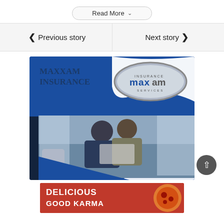Read More
< Previous story
Next story >
[Figure (logo): Maxxam Insurance advertisement banner showing two businessmen looking at a laptop on a sofa, with the Maxxam Insurance Services logo and branding in blue]
[Figure (other): Pizza advertisement banner with red background showing 'DELICIOUS GOOD KARMA' text and pizza image]